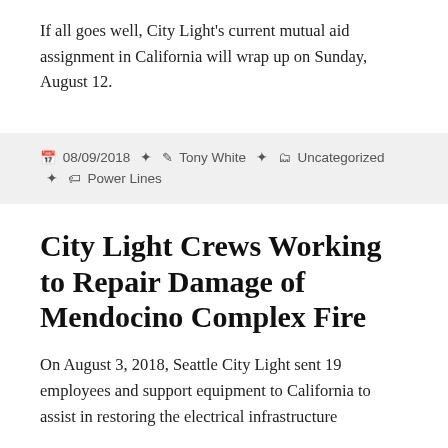If all goes well, City Light's current mutual aid assignment in California will wrap up on Sunday, August 12.
08/09/2018  Tony White  Uncategorized  Power Lines
City Light Crews Working to Repair Damage of Mendocino Complex Fire
On August 3, 2018, Seattle City Light sent 19 employees and support equipment to California to assist in restoring the electrical infrastructure